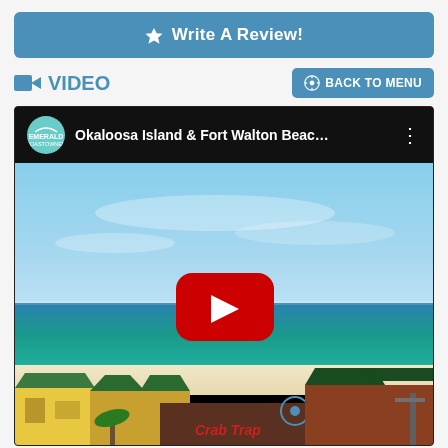★ Write A Review!
🎥 VIDEO
⊙ BACK TO MENU
[Figure (screenshot): YouTube video thumbnail showing Okaloosa Island & Fort Walton Beach... with Emerald Coastowner channel logo, beach aerial view with blue sky, ocean, white sand, and Crab Trap restaurant visible, with YouTube play button overlay]